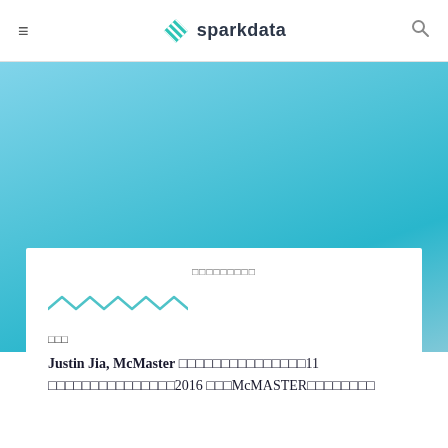sparkdata
[Figure (screenshot): Sparkdata website header with hamburger menu icon, sparkdata logo with teal striped diamond icon, and search icon on white background above a teal/light blue gradient banner area]
□□□□□□□□□
[Figure (illustration): Teal zigzag/wave decorative line divider]
□□□
Justin Jia, McMaster □□□□□□□□□□□□□□□11 □□□□□□□□□□□□□□□2016 □□□McMASTER□□□□□□□□